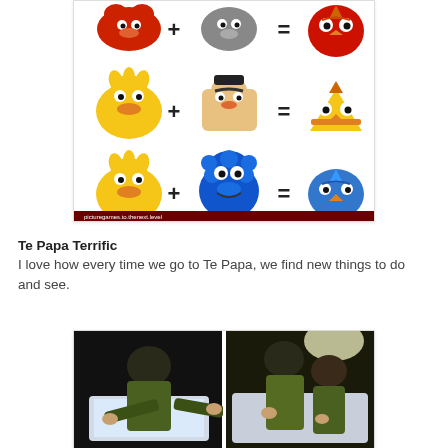[Figure (infographic): Sesame Street + Angry Birds mashup infographic showing: Elmo + grey character = red Angry Bird, Big Bird + Bert = yellow Angry Bird, Big Bird + Cookie Monster = blue Angry Bird. Characters shown in equation format with + and = signs.]
Te Papa Terrific
I love how every time we go to Te Papa, we find new things to do and see.
[Figure (photo): Two photos side by side of children using a light table/illuminated surface at Te Papa museum, both wearing yellow-green shirts.]